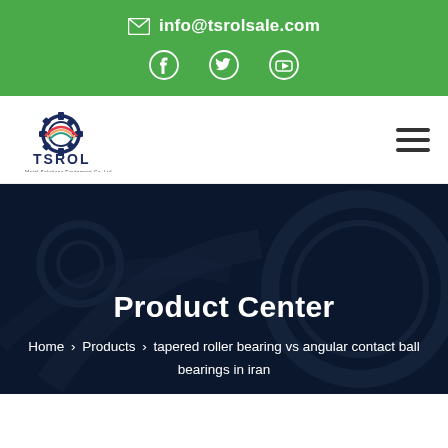info@tsrolsale.com
[Figure (logo): TSROL company logo with gear icon and text 'TSROL - Metal Solutions Equipment Co. Ltd']
Product Center
Home > Products > tapered roller bearing vs angular contact ball bearings in iran